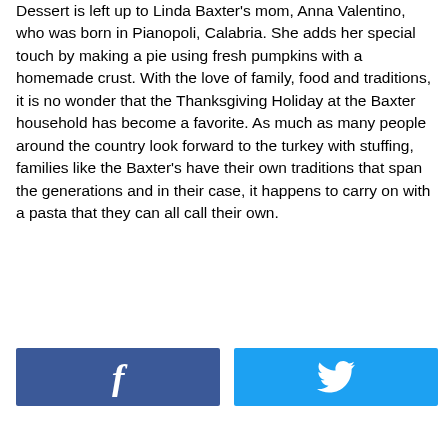Dessert is left up to Linda Baxter's mom, Anna Valentino, who was born in Pianopoli, Calabria. She adds her special touch by making a pie using fresh pumpkins with a homemade crust. With the love of family, food and traditions, it is no wonder that the Thanksgiving Holiday at the Baxter household has become a favorite. As much as many people around the country look forward to the turkey with stuffing, families like the Baxter's have their own traditions that span the generations and in their case, it happens to carry on with a pasta that they can all call their own.
[Figure (infographic): Two social share buttons side by side: a Facebook button (dark blue with 'f' icon) and a Twitter button (light blue with bird icon)]